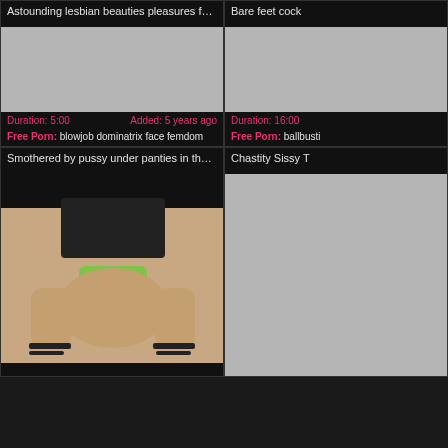Astounding lesbian beauties pleasures fucking
[Figure (photo): Gray placeholder thumbnail for video]
Duration: 5:00   Added: 5 years ago
Free Porn: blowjob dominatrix face femdom
Bare feet cock
[Figure (photo): Gray placeholder thumbnail for video, partially visible]
Duration: 16:00
Free Porn: ballbusti
Smothered by pussy under panties in the face
[Figure (photo): Photo of person crouching wearing green underwear and black heeled sandals]
Chastity Sissy T